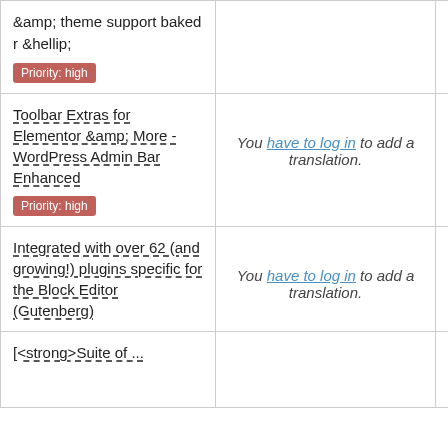| Plugin | Translation | Details |
| --- | --- | --- |
| &amp; theme support baked r &hellip;
Priority: high |  |  |
| Toolbar Extras for Elementor &amp; More - WordPress Admin Bar Enhanced
Priority: high | You have to log in to add a translation. | Details |
| Integrated with over 62 (and growing!) plugins specific for the Block Editor (Gutenberg) | You have to log in to add a translation. | Details |
| [<strong>Suite of ... |